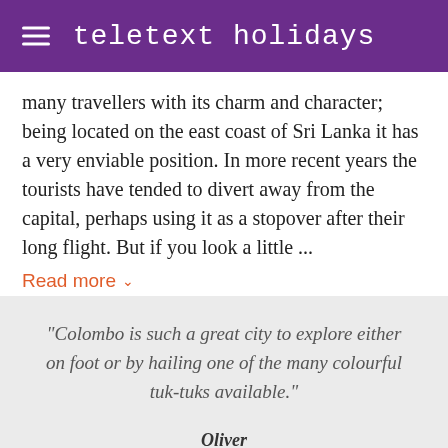teletext holidays
many travellers with its charm and character; being located on the east coast of Sri Lanka it has a very enviable position. In more recent years the tourists have tended to divert away from the capital, perhaps using it as a stopover after their long flight. But if you look a little ...
Read more
"Colombo is such a great city to explore either on foot or by hailing one of the many colourful tuk-tuks available."
Oliver
Traveller
Essential Information:
When you go and what you'll need